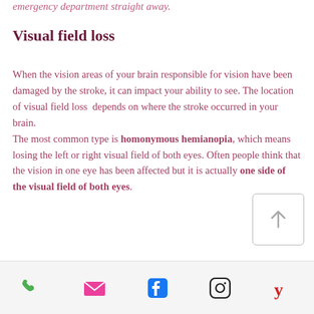emergency department straight away.
Visual field loss
When the vision areas of your brain responsible for vision have been damaged by the stroke, it can impact your ability to see. The location of visual field loss depends on where the stroke occurred in your brain. The most common type is homonymous hemianopia, which means losing the left or right visual field of both eyes. Often people think that the vision in one eye has been affected but it is actually one side of the visual field of both eyes.
phone, email, facebook, instagram, yelp icons